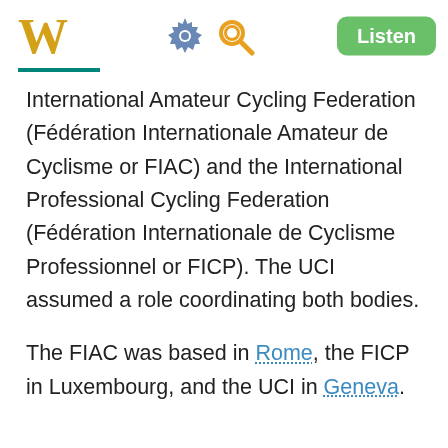W [Wikipedia logo] [gear icon] [search icon] Listen
International Amateur Cycling Federation (Fédération Internationale Amateur de Cyclisme or FIAC) and the International Professional Cycling Federation (Fédération Internationale de Cyclisme Professionnel or FICP). The UCI assumed a role coordinating both bodies.
The FIAC was based in Rome, the FICP in Luxembourg, and the UCI in Geneva.